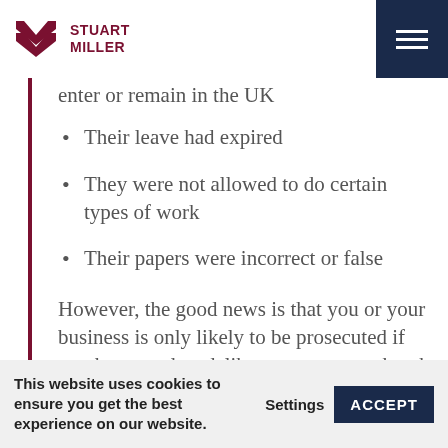Stuart Miller
enter or remain in the UK
Their leave had expired
They were not allowed to do certain types of work
Their papers were incorrect or false
However, the good news is that you or your business is only likely to be prosecuted if you have made a deliberate attempt to break the law by
This website uses cookies to ensure you get the best experience on our website. Settings ACCEPT